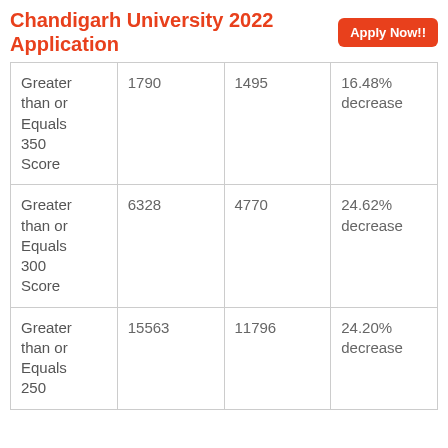Chandigarh University 2022 Application
| Greater than or Equals 350 Score | 1790 | 1495 | 16.48% decrease |
| Greater than or Equals 300 Score | 6328 | 4770 | 24.62% decrease |
| Greater than or Equals 250 | 15563 | 11796 | 24.20% decrease |